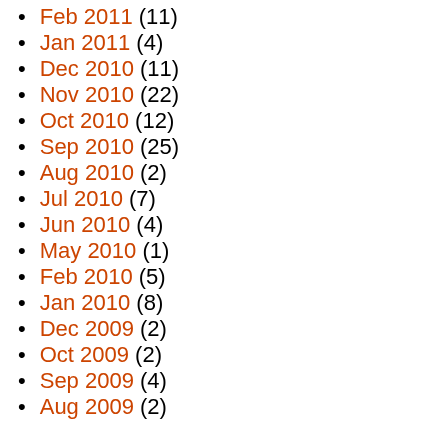Feb 2011 (11)
Jan 2011 (4)
Dec 2010 (11)
Nov 2010 (22)
Oct 2010 (12)
Sep 2010 (25)
Aug 2010 (2)
Jul 2010 (7)
Jun 2010 (4)
May 2010 (1)
Feb 2010 (5)
Jan 2010 (8)
Dec 2009 (2)
Oct 2009 (2)
Sep 2009 (4)
Aug 2009 (2)